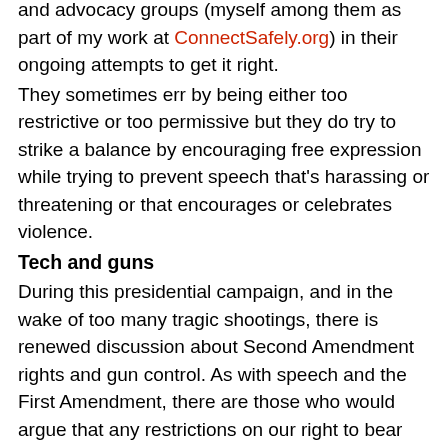and advocacy groups (myself among them as part of my work at ConnectSafely.org) in their ongoing attempts to get it right.
They sometimes err by being either too restrictive or too permissive but they do try to strike a balance by encouraging free expression while trying to prevent speech that's harassing or threatening or that encourages or celebrates violence.
Tech and guns
During this presidential campaign, and in the wake of too many tragic shootings, there is renewed discussion about Second Amendment rights and gun control. As with speech and the First Amendment, there are those who would argue that any restrictions on our right to bear arms is unconstitutional. Yet just as most free speech advocates agree that there can be some limits on harmful speech, polls show that most gun owners can live with reasonable restrictions